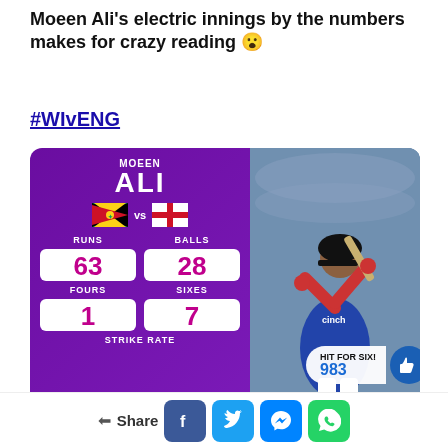Moeen Ali's electric innings by the numbers makes for crazy reading 😮
#WIvENG
[Figure (infographic): Sports infographic showing Moeen Ali cricket stats: RUNS 63, BALLS 28, FOURS 1, SIXES 7, STRIKE RATE. West Indies vs England flags. Photo of Moeen Ali batting. HIT FOR SIX! 983 likes.]
Share (Facebook, Twitter, Messenger, WhatsApp)